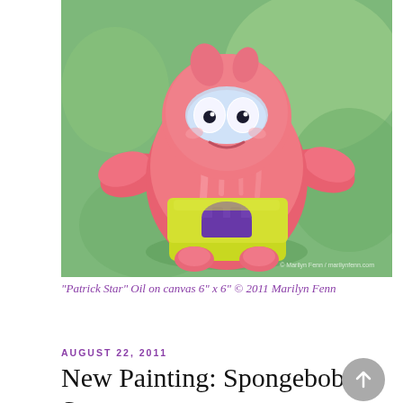[Figure (illustration): Oil painting of Patrick Star (cartoon character) on a green background. Patrick is pink, wearing yellow-green shorts with a purple design. The painting is signed '© Marilyn Fenn / marilynfenn.com' in the bottom right corner.]
“Patrick Star” Oil on canvas 6” x 6” © 2011 Marilyn Fenn
AUGUST 22, 2011
New Painting: Spongebob Squarepants